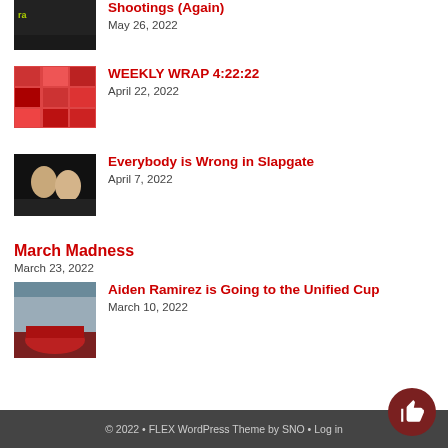[Figure (photo): Thumbnail image with yellow/green text overlay, dark background]
Shootings (Again)
May 26, 2022
[Figure (photo): Colorful grid of images for Weekly Wrap]
WEEKLY WRAP 4:22:22
April 22, 2022
[Figure (photo): Two people photographed together, dark background]
Everybody is Wrong in Slapgate
April 7, 2022
March Madness
March 23, 2022
[Figure (photo): Sports team photo in gymnasium with red uniforms]
Aiden Ramirez is Going to the Unified Cup
March 10, 2022
© 2022 • FLEX WordPress Theme by SNO • Log in